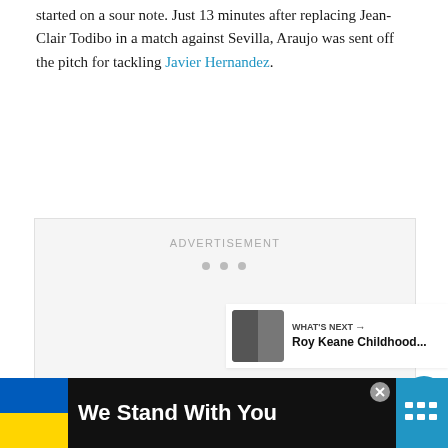started on a sour note. Just 13 minutes after replacing Jean-Clair Todibo in a match against Sevilla, Araujo was sent off the pitch for tackling Javier Hernandez.
[Figure (other): Advertisement placeholder box with 'ADVERTISEMENT' label and three navigation dots at the bottom]
[Figure (other): Social interaction UI: heart/like button (blue circle with heart icon), count of 5, and share button (white circle with share icon)]
[Figure (other): What's Next card showing thumbnail, label 'WHAT'S NEXT →' and title 'Roy Keane Childhood...']
[Figure (other): Banner bar at the bottom: Ukrainian flag colors square, 'We Stand With You' text, close X button, and a blue logo on the right]